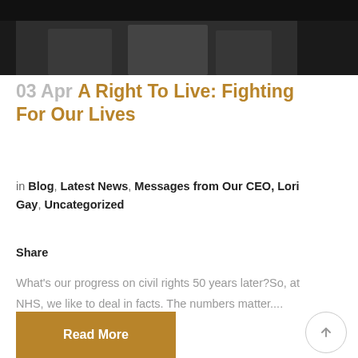[Figure (photo): Black and white photo strip of people, partially cropped at top]
03 Apr A Right To Live: Fighting For Our Lives
in Blog, Latest News, Messages from Our CEO, Lori Gay, Uncategorized
Share
What's our progress on civil rights 50 years later?So, at NHS, we like to deal in facts. The numbers matter....
Read More